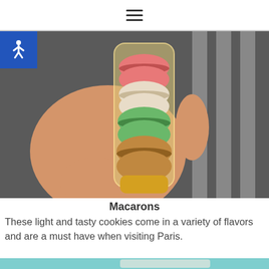≡
[Figure (photo): A hand holding a clear plastic sleeve containing stacked French macarons in various colors: pink/orange at top, white/cream, green, and brown/caramel at bottom. Background shows a zebra crossing.]
Macarons
These light and tasty cookies come in a variety of flavors and are a must have when visiting Paris.
[Figure (photo): Partial view of a second photo showing teal/blue fabric and white tissue or paper.]